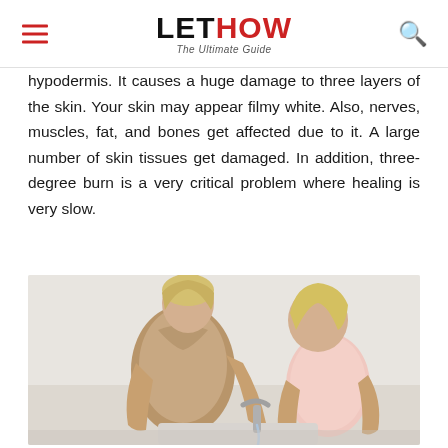LET HOW — The Ultimate Guide
hypodermis. It causes a huge damage to three layers of the skin. Your skin may appear filmy white. Also, nerves, muscles, fat, and bones get affected due to it. A large number of skin tissues get damaged. In addition, three-degree burn is a very critical problem where healing is very slow.
[Figure (photo): A woman and a young girl at a sink, appearing to run water over a hand or arm, suggesting treatment of a burn injury.]